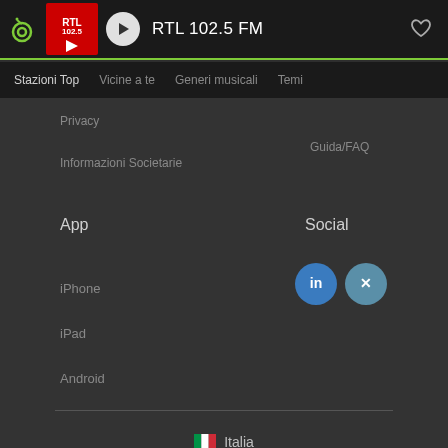RTL 102.5 FM
Stazioni Top  Vicine a te  Generi musicali  Temi
Privacy
Guida/FAQ
Informazioni Societarie
App
Social
iPhone
iPad
Android
[Figure (logo): LinkedIn logo circle icon]
[Figure (logo): Xing logo circle icon]
Italia
v5.55.0 | © 2007-2022 radio.de GmbH
Generated: 9/1/2022 - 3:01:38 PM